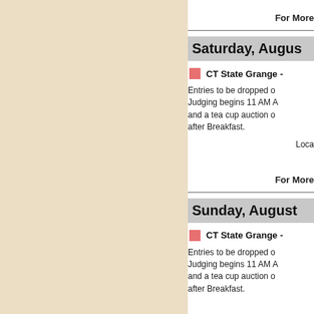For More
Saturday, Augus…
CT State Grange -
Entries to be dropped o… Judging begins 11 AM A… and a tea cup auction o… after Breakfast.
Loca…
For More
Sunday, August …
CT State Grange -
Entries to be dropped o… Judging begins 11 AM A… and a tea cup auction o… after Breakfast.